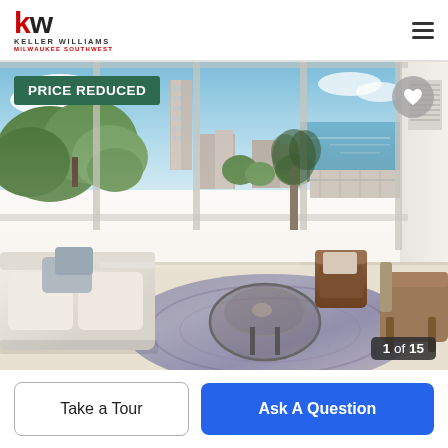[Figure (logo): Keller Williams Milwaukee Southwest logo - KW letters in red/black with brand name]
[Figure (photo): Interior living room photo of a high-rise condo with panoramic floor-to-ceiling windows showing a city skyline and lake view. Room features a white sectional sofa, round glass coffee table, leather chairs, and a decorative rug.]
PRICE REDUCED
1 of 15
Take a Tour
Ask A Question